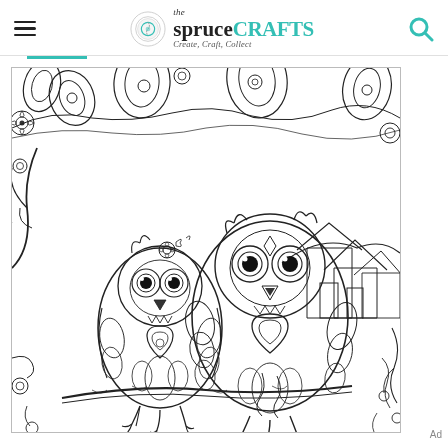the spruce CRAFTS — Create, Craft, Collect
[Figure (illustration): A black and white coloring page illustration featuring two decorative owls perched on a branch, surrounded by intricate mandala-style floral patterns, leaves, and a village scene in the background. The owls have detailed patterned feathers with hearts and swirls. Style is adult coloring book line art.]
Ad